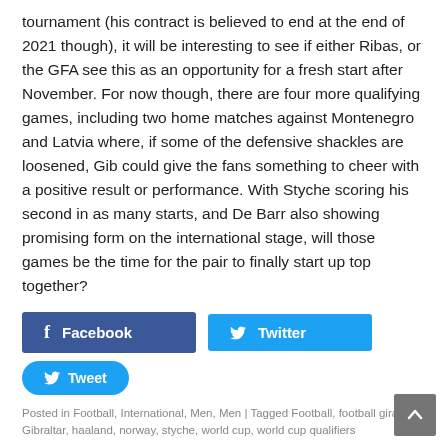tournament (his contract is believed to end at the end of 2021 though), it will be interesting to see if either Ribas, or the GFA see this as an opportunity for a fresh start after November. For now though, there are four more qualifying games, including two home matches against Montenegro and Latvia where, if some of the defensive shackles are loosened, Gib could give the fans something to cheer with a positive result or performance. With Styche scoring his second in as many starts, and De Barr also showing promising form on the international stage, will those games be the time for the pair to finally start up top together?
[Figure (other): Social share buttons: Facebook button (dark blue), Twitter button (light blue), and a Tweet button (light blue rounded)]
Posted in Football, International, Men, Men | Tagged Football, football giraltar, Gibraltar, haaland, norway, styche, world cup, world cup qualifiers